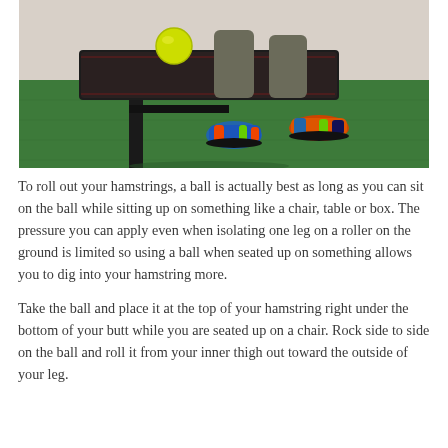[Figure (photo): Person seated on a black bench/box on a green gym mat, placing a yellow ball under their hamstring. The person is wearing colorful athletic shoes and gray pants. Only the lower body is visible.]
To roll out your hamstrings, a ball is actually best as long as you can sit on the ball while sitting up on something like a chair, table or box. The pressure you can apply even when isolating one leg on a roller on the ground is limited so using a ball when seated up on something allows you to dig into your hamstring more.
Take the ball and place it at the top of your hamstring right under the bottom of your butt while you are seated up on a chair. Rock side to side on the ball and roll it from your inner thigh out toward the outside of your leg.